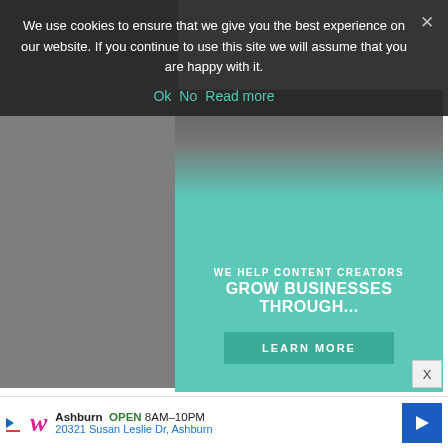We use cookies to ensure that we give you the best experience on our website. If you continue to use this site we will assume that you are happy with it.
Ok   No   Read more
[Figure (screenshot): Advertisement banner: WE HELP CONTENT CREATORS GROW BUSINESSES THROUGH... with a LEARN MORE button on teal background]
Margaret Wise Brown wrote hundreds of stories and poems for children. She wrote the enduring classics Goodnight Moon and Runaway Bunny. Parragon Books has acquired exclusive rights to a catalog of her unpublished works which are being brought to life with bright, modern illustrations, to enchant a new generation of
[Figure (screenshot): Walgreens bottom advertisement bar: Ashburn OPEN 8AM-10PM, 20321 Susan Leslie Dr, Ashburn]